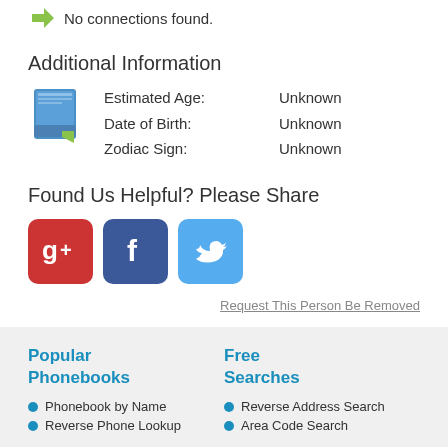No connections found.
Additional Information
Estimated Age: Unknown
Date of Birth: Unknown
Zodiac Sign: Unknown
Found Us Helpful? Please Share
[Figure (other): Google+, Facebook, and Twitter social sharing buttons]
Request This Person Be Removed
Popular Phonebooks
Free Searches
Phonebook by Name
Reverse Address Search